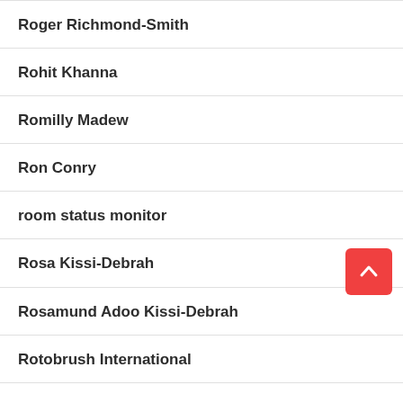Roger Richmond-Smith
Rohit Khanna
Romilly Madew
Ron Conry
room status monitor
Rosa Kissi-Debrah
Rosamund Adoo Kissi-Debrah
Rotobrush International